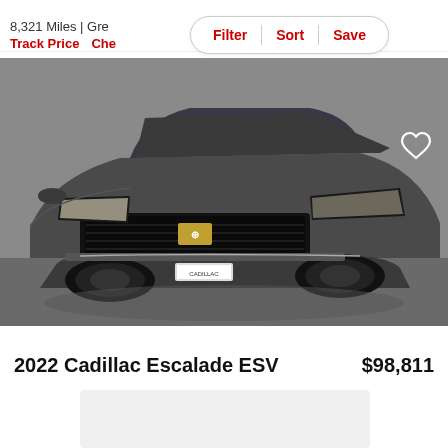8,321 Miles | Gre...
Filter | Sort | Save
Track Price   Che...
[Figure (photo): Front view of a dark gray 2022 Cadillac Escalade ESV SUV in a showroom, with large black grille, Cadillac badge, and black wheels. Heart/favorite icon in upper right corner.]
2022 Cadillac Escalade ESV   $98,811